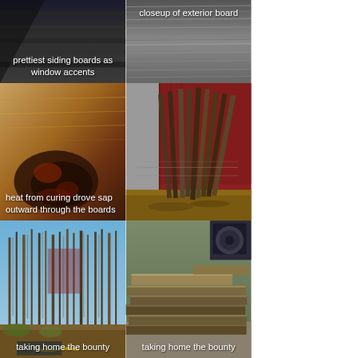[Figure (photo): Close-up photo of dark wood siding boards, caption: prettiest siding boards as window accents]
[Figure (photo): Closeup of weathered exterior board with gray grain texture, caption: closeup of exterior board]
[Figure (photo): Macro closeup of wood board surface showing dark sap stain, caption: heat from curing drove sap outward through the boards]
[Figure (photo): Vertical boards leaning against a red barn exterior]
[Figure (photo): Forest scene with trees and vehicle, caption: taking home the bounty]
[Figure (photo): Stack of long lumber boards outdoors near a sawmill, caption: taking home the bounty]